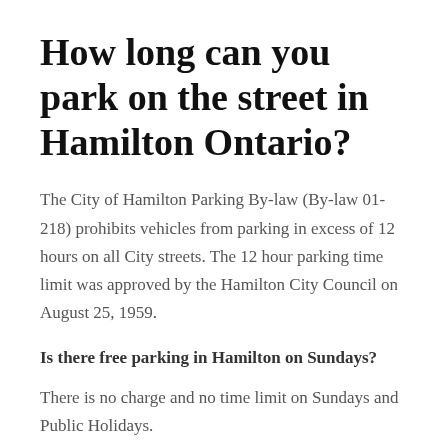How long can you park on the street in Hamilton Ontario?
The City of Hamilton Parking By-law (By-law 01-218) prohibits vehicles from parking in excess of 12 hours on all City streets. The 12 hour parking time limit was approved by the Hamilton City Council on August 25, 1959.
Is there free parking in Hamilton on Sundays?
There is no charge and no time limit on Sundays and Public Holidays.
Is parking free after 6 in